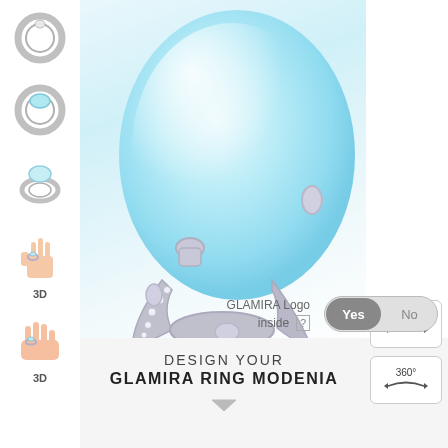[Figure (photo): Thumbnail of plain silver ring with diamond, top-down view]
[Figure (photo): Thumbnail of silver ring with aquamarine/blue oval stone, top view]
[Figure (photo): Thumbnail of silver ring with pale blue oval stone, side/angle view]
[Figure (photo): 3D hand wearing ring, front view with label '3D']
[Figure (photo): 3D hand wearing ring, side view with label '3D']
[Figure (photo): Main large product image: close-up of silver ring with large oval light blue aquamarine stone and diamond-studded band]
[Figure (illustration): 360 degree rotation button (top)]
[Figure (illustration): 360 degree rotation button (bottom)]
GLAMIRA Logo inside [?]
Yes  No
DESIGN YOUR
GLAMIRA RING MODENIA